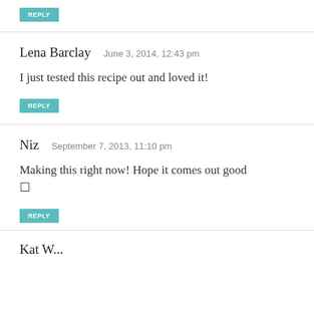REPLY
Lena Barclay   June 3, 2014, 12:43 pm
I just tested this recipe out and loved it!
REPLY
Niz   September 7, 2013, 11:10 pm
Making this right now! Hope it comes out good □
REPLY
Kat W...